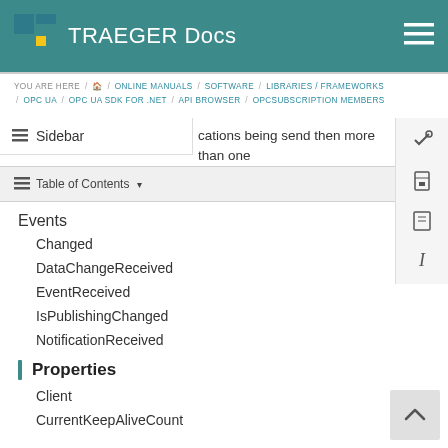TRAEGER Docs
YOU ARE HERE / 🏠 / ONLINE MANUALS / SOFTWARE / LIBRARIES / FRAMEWORKS / OPC UA / OPC UA SDK FOR .NET / API BROWSER / OPCSUBSCRIPTION MEMBERS
cations being send then more than one s to be notified
≡ Sidebar
≡ Table of Contents ▾
Events
Changed
DataChangeReceived
EventReceived
IsPublishingChanged
NotificationReceived
Properties
Client
CurrentKeepAliveCount